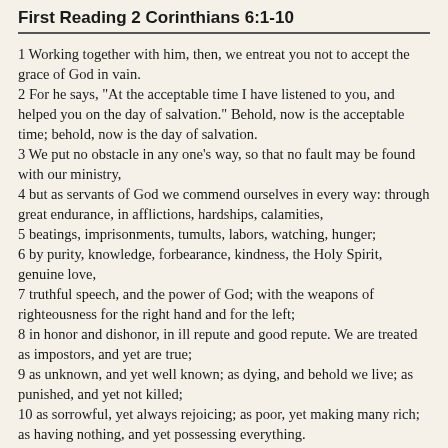First Reading 2 Corinthians 6:1-10
1 Working together with him, then, we entreat you not to accept the grace of God in vain.
2 For he says, "At the acceptable time I have listened to you, and helped you on the day of salvation." Behold, now is the acceptable time; behold, now is the day of salvation.
3 We put no obstacle in any one's way, so that no fault may be found with our ministry,
4 but as servants of God we commend ourselves in every way: through great endurance, in afflictions, hardships, calamities,
5 beatings, imprisonments, tumults, labors, watching, hunger;
6 by purity, knowledge, forbearance, kindness, the Holy Spirit, genuine love,
7 truthful speech, and the power of God; with the weapons of righteousness for the right hand and for the left;
8 in honor and dishonor, in ill repute and good repute. We are treated as impostors, and yet are true;
9 as unknown, and yet well known; as dying, and behold we live; as punished, and yet not killed;
10 as sorrowful, yet always rejoicing; as poor, yet making many rich; as having nothing, and yet possessing everything.